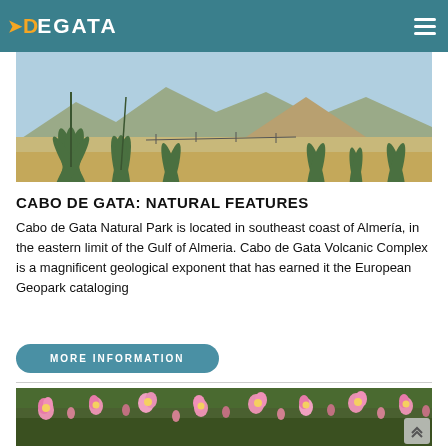DEGATA
[Figure (photo): Landscape photo of Cabo de Gata showing desert vegetation including agave plants and arid mountains in the background under a blue sky]
CABO DE GATA: NATURAL FEATURES
Cabo de Gata Natural Park is located in southeast coast of Almería, in the eastern limit of the Gulf of Almeria. Cabo de Gata Volcanic Complex is a magnificent geological exponent that has earned it the European Geopark cataloging
MORE INFORMATION
[Figure (photo): Close-up photo of pink and yellow wildflowers (snapdragons/toadflax) among green vegetation in Cabo de Gata Natural Park]